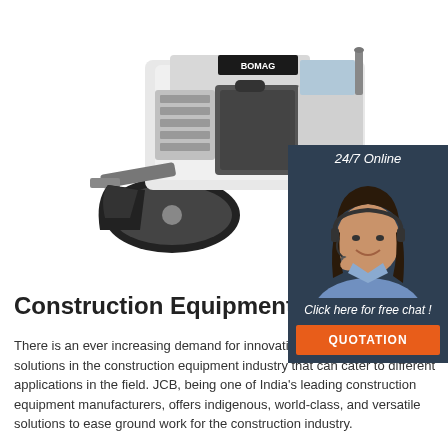[Figure (photo): Construction road roller / compactor machine, white and black, viewed from front, on white background]
[Figure (infographic): 24/7 Online chat widget with female customer service agent wearing headset, dark blue panel with 'Click here for free chat!' text and orange QUOTATION button]
Construction Equipment
There is an ever increasing demand for innovative machines and solutions in the construction equipment industry that can cater to different applications in the field. JCB, being one of India's leading construction equipment manufacturers, offers indigenous, world-class, and versatile solutions to ease ground work for the construction industry.